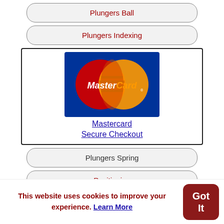Plungers Ball
Plungers Indexing
[Figure (logo): MasterCard logo with red and orange overlapping circles on blue background, with text 'MasterCard Secure Checkout' link below]
Plungers Spring
Positioning
Pressure Rollers
Protective Packing and Sleeves
This website uses cookies to improve your experience. Learn More
Got It